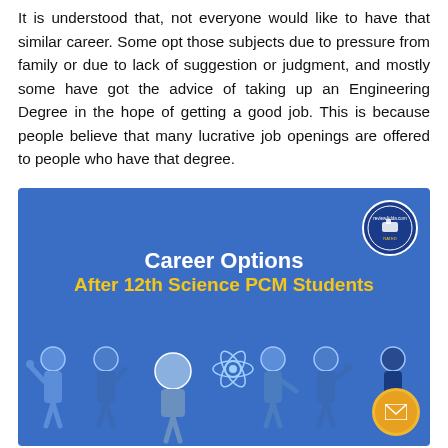It is understood that, not everyone would like to have that similar career. Some opt those subjects due to pressure from family or due to lack of suggestion or judgment, and mostly some have got the advice of taking up an Engineering Degree in the hope of getting a good job. This is because people believe that many lucrative job openings are offered to people who have that degree.
[Figure (infographic): Infographic on blue background titled 'Career Options After 12th Science PCM Students' with illustrated cartoon figures of professionals in various careers (doctor, police officer, engineer, scientist, worker, etc.) and a logo badge in the top right corner.]